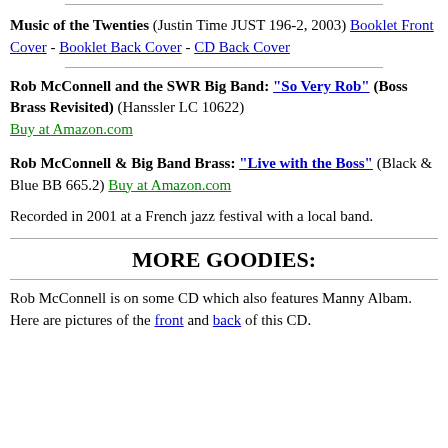Music of the Twenties (Justin Time JUST 196-2, 2003) Booklet Front Cover - Booklet Back Cover - CD Back Cover
Rob McConnell and the SWR Big Band: "So Very Rob" (Boss Brass Revisited) (Hanssler LC 10622) Buy at Amazon.com
Rob McConnell & Big Band Brass: "Live with the Boss" (Black & Blue BB 665.2) Buy at Amazon.com
Recorded in 2001 at a French jazz festival with a local band.
MORE GOODIES:
Rob McConnell is on some CD which also features Manny Albam. Here are pictures of the front and back of this CD.